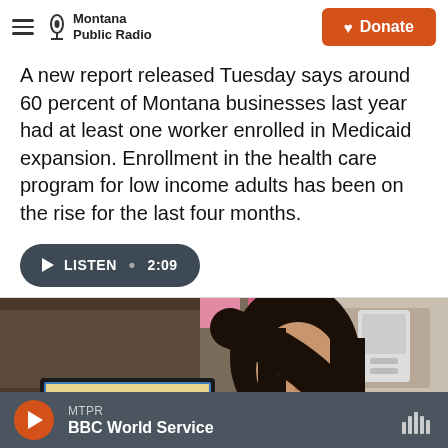Montana Public Radio | Donate
A new report released Tuesday says around 60 percent of Montana businesses last year had at least one worker enrolled in Medicaid expansion. Enrollment in the health care program for low income adults has been on the rise for the last four months.
[Figure (other): Listen audio button showing play icon, LISTEN • 2:09]
[Figure (photo): Photo of two people, one woman with long dark hair leaning over to look at a computer screen with another person with light hair, in an office setting]
MTPR — BBC World Service (audio player bar)